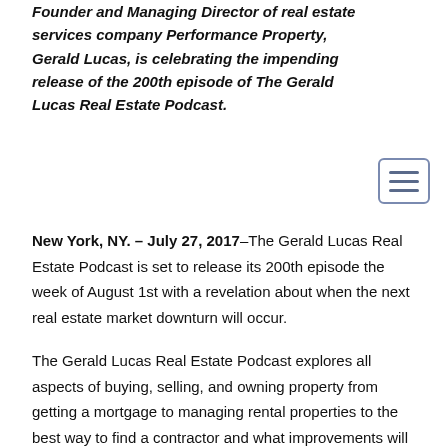Founder and Managing Director of real estate services company Performance Property, Gerald Lucas, is celebrating the impending release of the 200th episode of The Gerald Lucas Real Estate Podcast.
New York, NY. – July 27, 2017–The Gerald Lucas Real Estate Podcast is set to release its 200th episode the week of August 1st with a revelation about when the next real estate market downturn will occur.
The Gerald Lucas Real Estate Podcast explores all aspects of buying, selling, and owning property from getting a mortgage to managing rental properties to the best way to find a contractor and what improvements will bring you the most return for your investment. Gerald brings decades of real estate investing knowledge and experience to bear on the topics covered in each show.